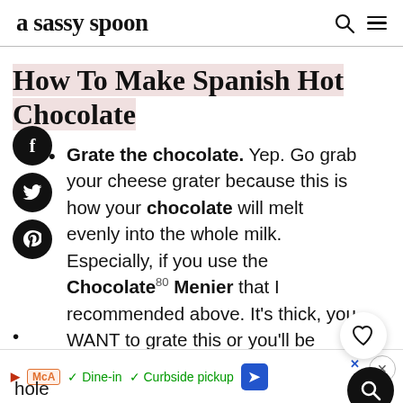a sassy spoon
How To Make Spanish Hot Chocolate
Grate the chocolate. Yep. Go grab your cheese grater because this is how your chocolate will melt evenly into the whole milk. Especially, if you use the Chocolate Menier that I recommended above. It's thick, you WANT to grate this or you'll be waiting for years for it to melt. My mom would shave the chocolate bar into the
[Figure (screenshot): Ad banner with McA logo, Dine-in and Curbside pickup checkmarks, navigation arrow icon, and close button]